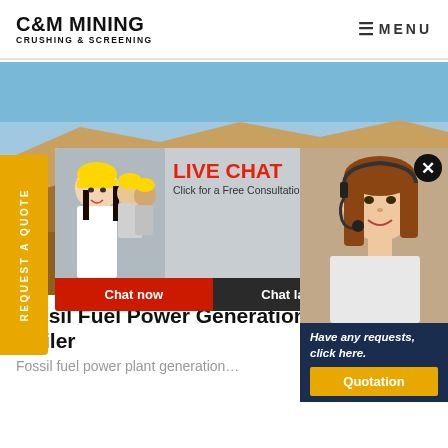C&M MINING CRUSHING & SCREENING | MENU
[Figure (photo): Mining site hero image showing yellow mining/crushing equipment on a desert hillside with blue sky]
REQUEST A QUOTE
[Figure (screenshot): Live chat popup with mining workers in hard hats, red LIVE CHAT heading, 'Click for a Free Consultation', Chat now and Chat later buttons]
[Figure (photo): Customer service representative with headset smiling, with dark blue quotation panel below reading 'Have any requests, click here.' and an orange Quotation button]
Fossil Fuel Power Generation Boiler
Fossil fuel power plant generation